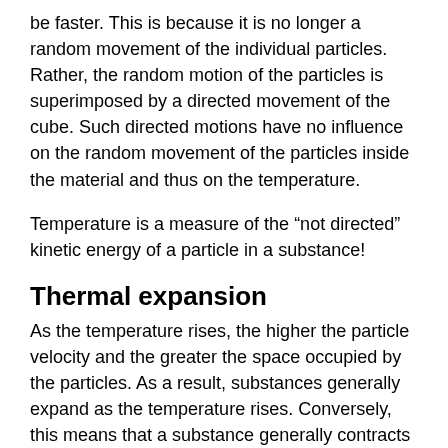be faster. This is because it is no longer a random movement of the individual particles. Rather, the random motion of the particles is superimposed by a directed movement of the cube. Such directed motions have no influence on the random movement of the particles inside the material and thus on the temperature.
Temperature is a measure of the “not directed” kinetic energy of a particle in a substance!
Thermal expansion
As the temperature rises, the higher the particle velocity and the greater the space occupied by the particles. As a result, substances generally expand as the temperature rises. Conversely, this means that a substance generally contracts when cooled. The resulting decrease in volume is connected with an increase in density (see also the animations in